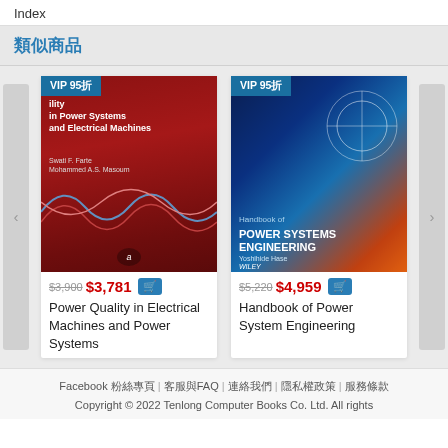Index
類似商品
[Figure (photo): Book cover: Power Quality in Electrical Machines and Power Systems, red cover with waveform graphics, VIP 95折 badge]
$3,900 $3,781 [cart]
Power Quality in Electrical Machines and Power Systems
[Figure (photo): Book cover: Handbook of Power Systems Engineering, blue/red cover with circuit graphics, VIP 95折 badge]
$5,220 $4,959 [cart]
Handbook of Power System Engineering
Facebook 粉絲專頁 | 客服與FAQ | 連絡我們 | 隱私權政策 | 服務條款
Copyright © 2022 Tenlong Computer Books Co. Ltd. All rights